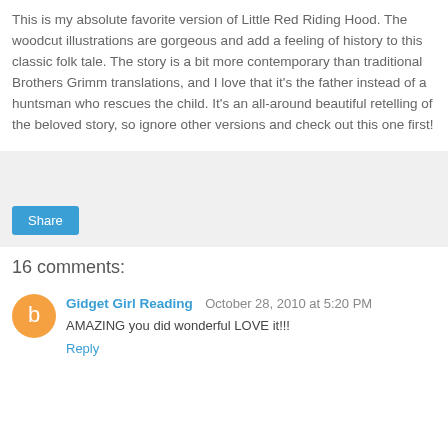This is my absolute favorite version of Little Red Riding Hood. The woodcut illustrations are gorgeous and add a feeling of history to this classic folk tale. The story is a bit more contemporary than traditional Brothers Grimm translations, and I love that it's the father instead of a huntsman who rescues the child. It's an all-around beautiful retelling of the beloved story, so ignore other versions and check out this one first!
[Figure (screenshot): Gray box with a blue Share button]
16 comments:
[Figure (illustration): Orange circle Blogger avatar icon]
Gidget Girl Reading  October 28, 2010 at 5:20 PM
AMAZING you did wonderful LOVE it!!!
Reply